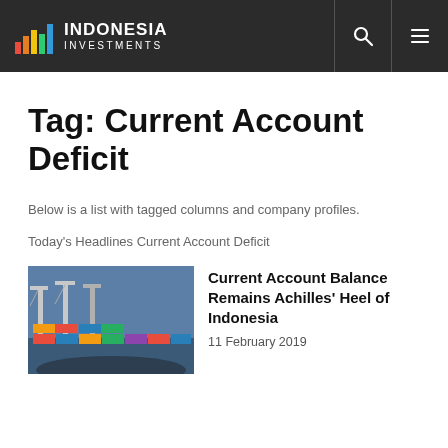INDONESIA INVESTMENTS
Tag: Current Account Deficit
Below is a list with tagged columns and company profiles.
Today's Headlines Current Account Deficit
[Figure (photo): Aerial photo of a shipping port with cranes and colorful cargo containers]
Current Account Balance Remains Achilles' Heel of Indonesia
11 February 2019